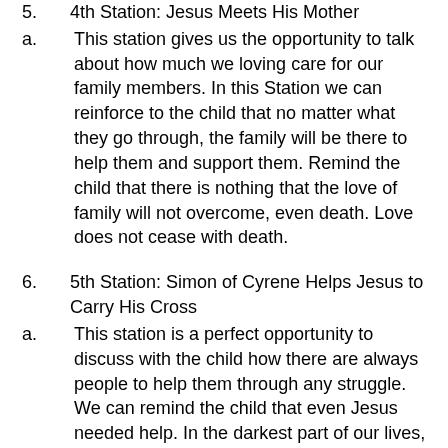5.     4th Station: Jesus Meets His Mother
a.     This station gives us the opportunity to talk about how much we loving care for our family members. In this Station we can reinforce to the child that no matter what they go through, the family will be there to help them and support them. Remind the child that there is nothing that the love of family will not overcome, even death. Love does not cease with death.
6.     5th Station: Simon of Cyrene Helps Jesus to Carry His Cross
a.     This station is a perfect opportunity to discuss with the child how there are always people to help them through any struggle. We can remind the child that even Jesus needed help. In the darkest part of our lives, we can remind the child, that there are always people that they can turn to for assistance. Talk about school counselors, parents, relatives, the priest and so on. Remind the child that there is nothing so dark that it cannot be overcome with help. (The key point is to